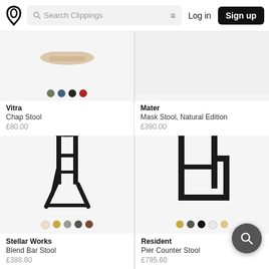Search Clippings | Log in | Sign up
[Figure (photo): Vitra Chap Stool product image (partially visible), with 4 color swatches: olive, blue, dark brown, red]
Vitra
Chap Stool
£80.00
[Figure (photo): Mater Mask Stool Natural Edition product image (partially visible, light background)]
Mater
Mask Stool, Natural Edition
£390.00
[Figure (photo): Stellar Works Blend Bar Stool product image - dark round seat on black metal legs, with 5 color swatches: cream, gold, grey, dark grey, brown]
Stellar Works
Blend Bar Stool
£388.80
[Figure (photo): Resident Pier Counter Stool product image - rectangular frame stool in dark finish, with 5 color swatches: gold, dark grey, black, white, gold]
Resident
Pier Counter Stool
£795.60